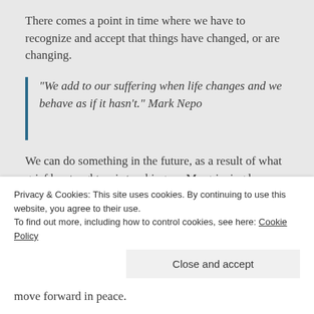There comes a point in time where we have to recognize and accept that things have changed, or are changing.
“We add to our suffering when life changes and we behave as if it hasn’t.” Mark Nepo
We can do something in the future, as a result of what grief has taught or is teaching us. My grieving has shown me that my word for the year – EMBRACE– was the perfect word. I will always be [truncated]
move forward in peace.
Privacy & Cookies: This site uses cookies. By continuing to use this website, you agree to their use.
To find out more, including how to control cookies, see here: Cookie Policy
Close and accept